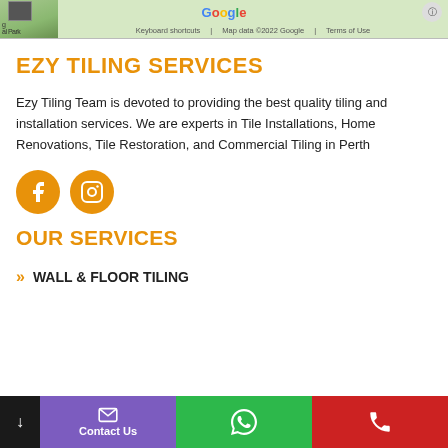[Figure (screenshot): Google Maps strip at the top of the page showing map thumbnail, keyboard shortcuts, map data attribution, and Terms of Use]
EZY TILING SERVICES
Ezy Tiling Team is devoted to providing the best quality tiling and installation services. We are experts in Tile Installations, Home Renovations, Tile Restoration, and Commercial Tiling in Perth
[Figure (illustration): Facebook and Instagram social media icons in orange circles]
OUR SERVICES
WALL & FLOOR TILING
[Figure (screenshot): Bottom navigation bar with black, purple (Contact Us with envelope icon), green (WhatsApp icon), and red (phone icon) sections]